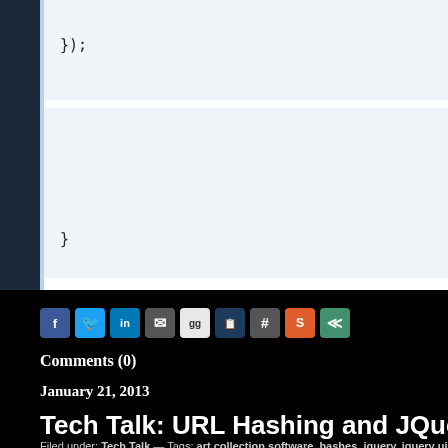[Figure (screenshot): Code editor snippet showing closing braces: '});' on one line and '}' further below, with alternating light blue and white background rows and a dark left gutter.]
[Figure (infographic): Row of social sharing icon buttons: Facebook (blue), Twitter (light blue), LinkedIn (blue), Email (gray), Google (light gray), Bloglovin (dark blue), Grid/other (gray), StumbleUpon (orange), Share (green).]
Comments (0)
January 21, 2013
Tech Talk: URL Hashing and JQuery U
Filed under: Tech Talk — Tags: art collection software, hashes, jquery, jquery ui tab, development — Asif N @ 10:44 pm